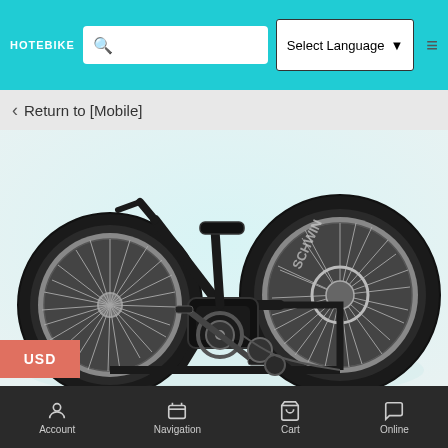HOTEBIKE | Search | Select Language
Return to [Mobile]
[Figure (photo): Close-up photo of a dark/black Schwinn electric bicycle showing the rear wheel with disc brake, drivetrain components including mid-drive motor, pedals, and spokes against a light background]
USD
If you have to worry about the battery life of an electric bike and climbing all the time steeply, you cannot have fun cycling. Schwinn Voyageur Mid-drive Electric Bike frees you from these
Account   Navigation   Cart   Online